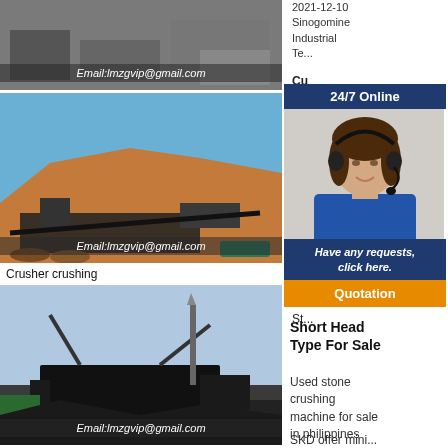[Figure (photo): Industrial facility photo with email overlay: Email:lmzgvip@gmail.com]
[Figure (photo): Crusher/mining site with large sand pile and conveyor equipment, email overlay: Email:lmzgvip@gmail.com]
Crusher crushing
[Figure (photo): Mobile crushing plant/machine on site, email overlay: Email:lmzgvip@gmail.com]
2021-12-10
Sinogomine Industrial Te...
[Figure (infographic): 24/7 Online customer service popup with woman wearing headset, 'Have any requests, click here.' text, and Quotation button]
Co...
St...
Short Head Type For Sale
Used stone crushing machine for sale in philippines
SKD offer mini...